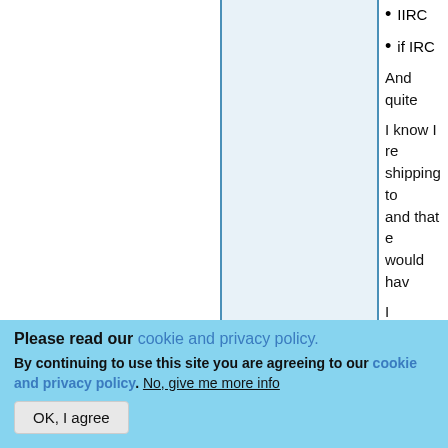IIRC
if IRC
And quite
I know I re shipping to and that e would hav
I honestly mentioned stated.... n know it wa find where
Please read our cookie and privacy policy.
By continuing to use this site you are agreeing to our cookie and privacy policy. No, give me more info
OK, I agree